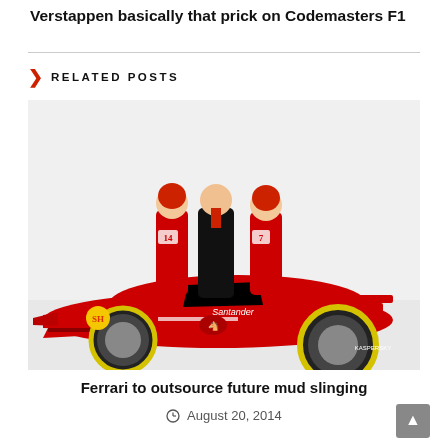Verstappen basically that prick on Codemasters F1
RELATED POSTS
[Figure (photo): Two Ferrari F1 drivers in red racing suits standing with a man in a black suit behind a red Ferrari Formula 1 car with Santander and Shell sponsorship logos]
Ferrari to outsource future mud slinging
August 20, 2014